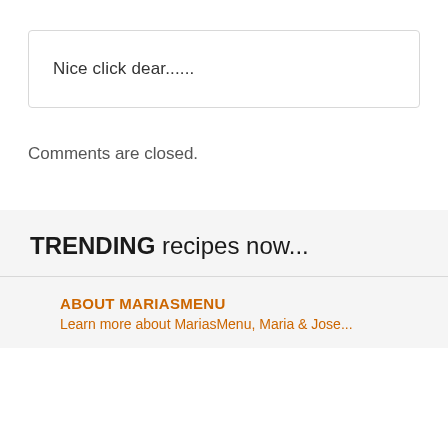Nice click dear......
Comments are closed.
TRENDING recipes now...
ABOUT MARIASMENU
Learn more about MariasMenu, Maria & Jose...